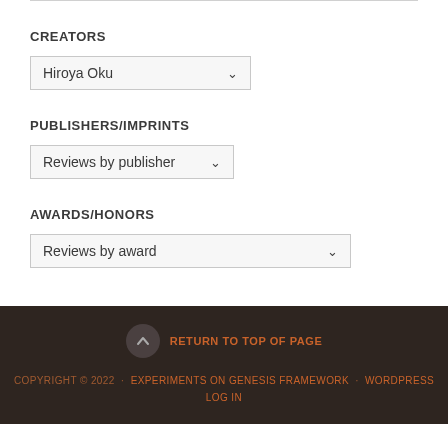CREATORS
Hiroya Oku (dropdown)
PUBLISHERS/IMPRINTS
Reviews by publisher (dropdown)
AWARDS/HONORS
Reviews by award (dropdown)
RETURN TO TOP OF PAGE · COPYRIGHT © 2022 · EXPERIMENTS ON GENESIS FRAMEWORK · WORDPRESS · LOG IN